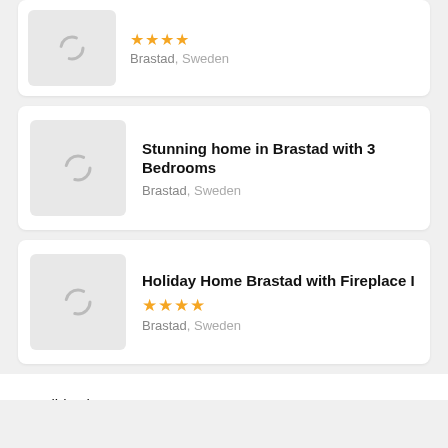[Figure (other): Partial accommodation listing card showing 4 star rating and location Brastad, Sweden with a loading image placeholder]
Brastad, Sweden
[Figure (other): Accommodation listing card: Stunning home in Brastad with 3 Bedrooms, Brastad, Sweden, loading image placeholder]
Stunning home in Brastad with 3 Bedrooms
Brastad, Sweden
[Figure (other): Accommodation listing card: Holiday Home Brastad with Fireplace I, 4 star rating, Brastad, Sweden, loading image placeholder]
Holiday Home Brastad with Fireplace I
Brastad, Sweden
Holiday homes Brastad, Sweden (12)